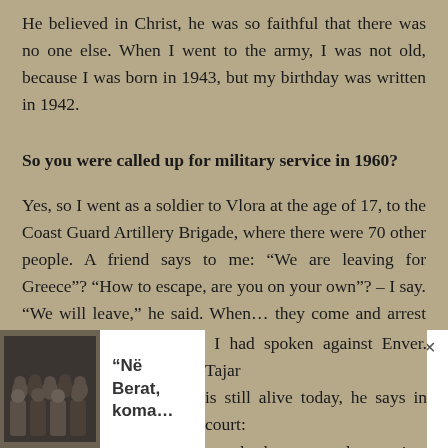He believed in Christ, he was so faithful that there was no one else. When I went to the army, I was not old, because I was born in 1943, but my birthday was written in 1942.
So you were called up for military service in 1960?
Yes, so I went as a soldier to Vlora at the age of 17, to the Coast Guard Artillery Brigade, where there were 70 other people. A friend says to me: “We are leaving for Greece”? “How to escape, are you on your own”? – I say. “We will leave,” he said. When… they come and arrest me. I laughed because I had done nothing.
They had made a document as if I had talked about I had spoken against Enver. Tajar is still alive today, he says in court: an who has not spoken against the
[Figure (photo): Small black and white group photo of people]
“Në Berat, koma…